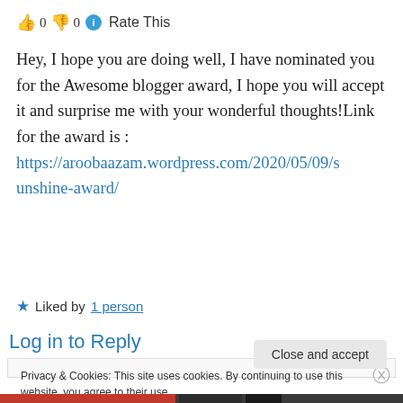👍 0 👎 0 ℹ Rate This
Hey, I hope you are doing well, I have nominated you for the Awesome blogger award, I hope you will accept it and surprise me with your wonderful thoughts!Link for the award is : https://aroobaazam.wordpress.com/2020/05/09/sunshine-award/
★ Liked by 1 person
Log in to Reply
Privacy & Cookies: This site uses cookies. By continuing to use this website, you agree to their use. To find out more, including how to control cookies, see here: Cookie Policy
Close and accept